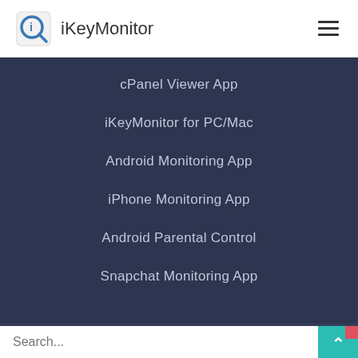iKeyMonitor
cPanel Viewer App
iKeyMonitor for PC/Mac
Android Monitoring App
iPhone Monitoring App
Android Parental Control
Snapchat Monitoring App
Search...